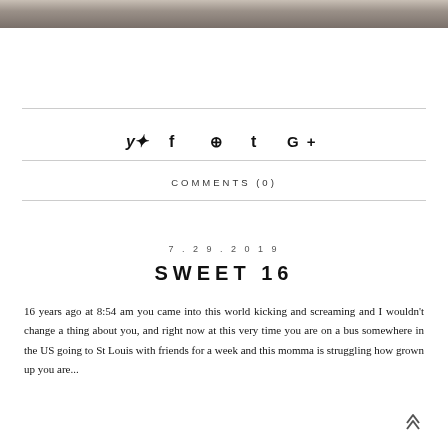[Figure (photo): Partial photo strip at top showing a person with reddish-brown hair and foliage in background]
✦ f ⊕ t G+
COMMENTS (0)
7.29.2019
SWEET 16
16 years ago at 8:54 am you came into this world kicking and screaming and I wouldn't change a thing about you, and right now at this very time you are on a bus somewhere in the US going to St Louis with friends for a week and this momma is struggling how grown up you are...